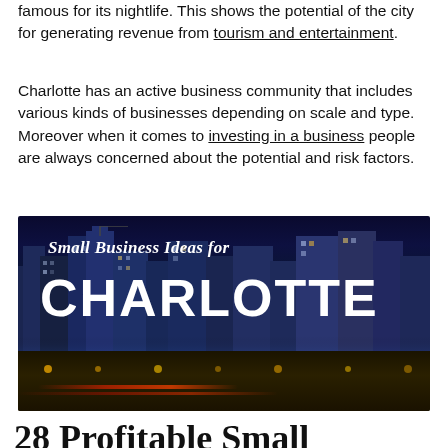famous for its nightlife. This shows the potential of the city for generating revenue from tourism and entertainment.
Charlotte has an active business community that includes various kinds of businesses depending on scale and type. Moreover when it comes to investing in a business people are always concerned about the potential and risk factors.
[Figure (photo): Night skyline of Charlotte with text overlay reading 'Small Business Ideas for CHARLOTTE']
28 Profitable Small